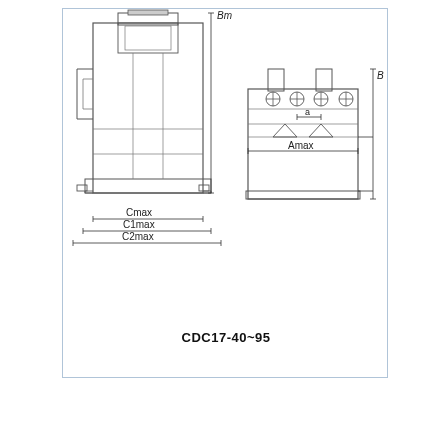[Figure (engineering-diagram): Technical/engineering outline drawing of CDC17-40~95 contactor showing front and side views with dimension labels: Bmax, Cmax, C1max, C2max, Amax, a, and an unlabeled height dimension. Dimension arrows and crosshair symbols are shown on the side view.]
CDC17-40~95